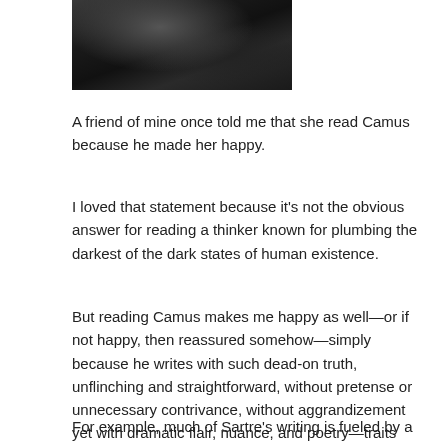[Figure (photo): Black and white photo of a person, partially cropped, dark tones]
A friend of mine once told me that she read Camus because he made her happy.
I loved that statement because it's not the obvious answer for reading a thinker known for plumbing the darkest of the dark states of human existence.
But reading Camus makes me happy as well—or if not happy, then reassured somehow—simply because he writes with such dead-on truth, unflinching and straightforward, without pretense or unnecessary contrivance, without aggrandizement yet with dramatic flair, nuance, and poetry—traits that many other writers from the existentialist all-star team don't possess to such a degree.
For example, much of Sartre's writing is fueled by a